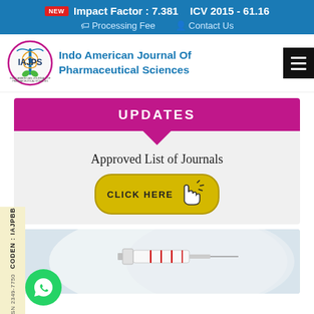NEW  Impact Factor : 7.381    ICV 2015 - 61.16
Processing Fee   Contact Us
[Figure (logo): IAJPS circular logo with caduceus symbol and text Indo American Journal Of Pharmaceutical Sciences]
Indo American Journal Of Pharmaceutical Sciences
UPDATES
Approved List of Journals
CLICK HERE
[Figure (photo): A person in white lab coat holding a medical syringe/injection device with red markings]
CODEN : IAJPBB
ISSN 2349-7750